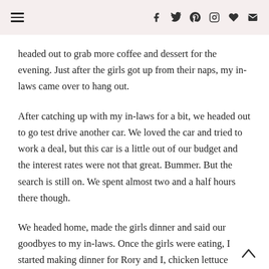headed out to grab more coffee and dessert for the evening. Just after the girls got up from their naps, my in-laws came over to hang out.
After catching up with my in-laws for a bit, we headed out to go test drive another car. We loved the car and tried to work a deal, but this car is a little out of our budget and the interest rates were not that great. Bummer. But the search is still on. We spent almost two and a half hours there though.
We headed home, made the girls dinner and said our goodbyes to my in-laws. Once the girls were eating, I started making dinner for Rory and I, chicken lettuce wraps. They were time consuming....all of the chopping, so we didn't get to bathe the girls last night.